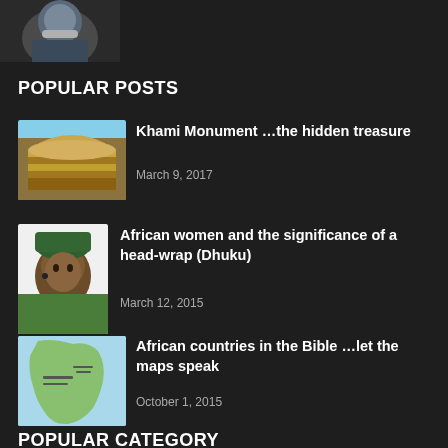[Figure (photo): Partially visible photo at top of page showing a person with face mask]
POPULAR POSTS
[Figure (photo): Thumbnail of Khami Monument stone ruins]
Khami Monument …the hidden treasure
March 9, 2017
[Figure (photo): Thumbnail of African woman wearing head-wrap (Dhuku)]
African women and the significance of a head-wrap (Dhuku)
March 12, 2015
[Figure (photo): Thumbnail of a map showing African countries in the Bible]
African countries in the Bible …let the maps speak
October 1, 2015
POPULAR CATEGORY